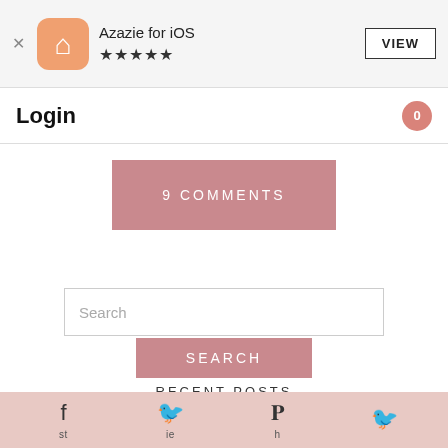[Figure (screenshot): App banner showing Azazie for iOS app icon with 5 stars and VIEW button]
Login
0
9 COMMENTS
Search
SEARCH
RECENT POSTS
How to Throw an At-Home Try On Party
[Figure (screenshot): Bottom social sharing bar with Facebook, Twitter, Pinterest, and other social icons on pink background]